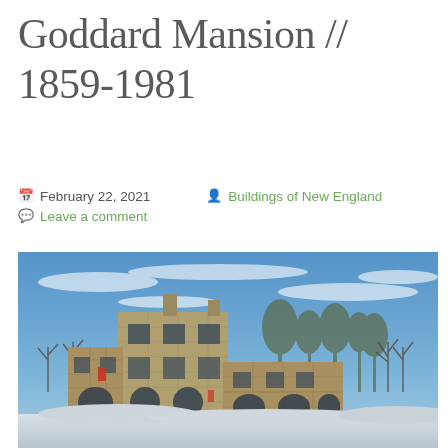Goddard Mansion // 1859-1981
February 22, 2021   Buildings of New England
Leave a comment
[Figure (photo): Exterior photograph of the Goddard Mansion, a large abandoned stone building with arched doorways, multiple wings, and empty window frames, photographed in winter with snow on the ground and a blue sky with wispy clouds in the background. Bare trees are visible behind the structure.]